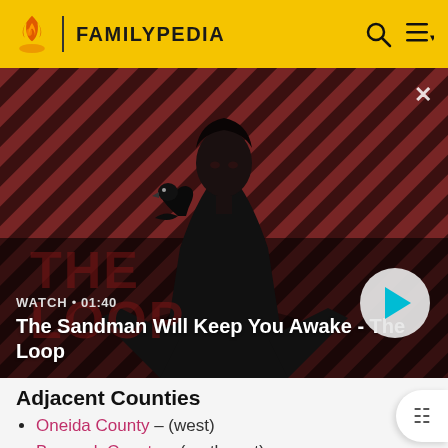FAMILYPEDIA
[Figure (screenshot): Video thumbnail showing a dark figure with a raven, diagonal red and dark stripe pattern background. Title: The Sandman Will Keep You Awake - The Loop. Watch • 01:40]
Adjacent Counties
Oneida County – (west)
Bannock County – (northwest)
Caribou County – (north)
Bear Lake County – (east)